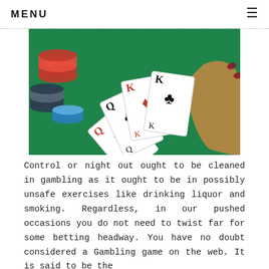MENU
[Figure (photo): A hand holding a fan of playing cards (Q, Q, Q, K, K) over a green felt table with colorful poker chips in the background.]
Control or night out ought to be cleaned in gambling as it ought to be in possibly unsafe exercises like drinking liquor and smoking. Regardless, in our pushed occasions you do not need to twist far for some betting headway. You have no doubt considered a Gambling game on the web. It is said to be the